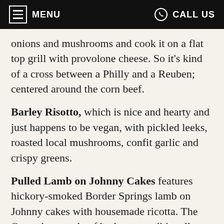MENU   CALL US
onions and mushrooms and cook it on a flat top grill with provolone cheese. So it's kind of a cross between a Philly and a Reuben; centered around the corn beef.
Barley Risotto, which is nice and hearty and just happens to be vegan, with pickled leeks, roasted local mushrooms, confit garlic and crispy greens.
Pulled Lamb on Johnny Cakes features hickory-smoked Border Springs lamb on Johnny cakes with housemade ricotta. The Owensboro style of barbecue traditionally